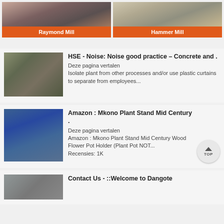[Figure (photo): Raymond Mill machinery photo with orange label]
[Figure (photo): Hammer Mill machinery photo with orange label]
[Figure (photo): HSE noise article thumbnail showing industrial machinery]
HSE - Noise: Noise good practice – Concrete and .
Deze pagina vertalen
Isolate plant from other processes and/or use plastic curtains to separate from employees...
[Figure (photo): Amazon Mkono Plant Stand article thumbnail showing blue tank]
Amazon : Mkono Plant Stand Mid Century .
Deze pagina vertalen
Amazon : Mkono Plant Stand Mid Century Wood Flower Pot Holder (Plant Pot NOT...
Recensies: 1K
[Figure (photo): Contact Us Dangote article thumbnail]
Contact Us - ::Welcome to Dangote